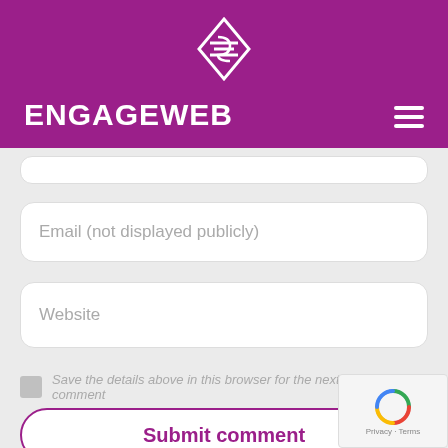[Figure (logo): EngageWeb logo: diamond shape with layered lines in white on purple background, with wordmark ENGAGEWEB in white bold text and hamburger menu icon]
Email (not displayed publicly)
Website
Save the details above in this browser for the next time I comment
Submit comment
or